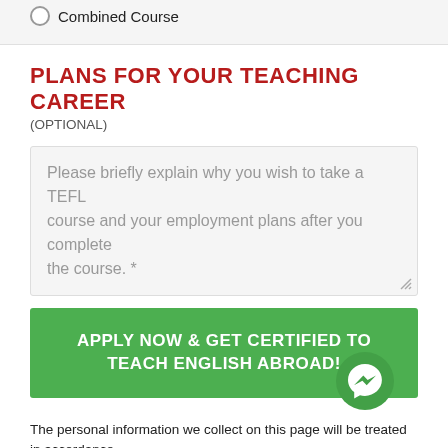Combined Course
PLANS FOR YOUR TEACHING CAREER
(OPTIONAL)
Please briefly explain why you wish to take a TEFL course and your employment plans after you complete the course. *
APPLY NOW & GET CERTIFIED TO TEACH ENGLISH ABROAD!
The personal information we collect on this page will be treated in accordance